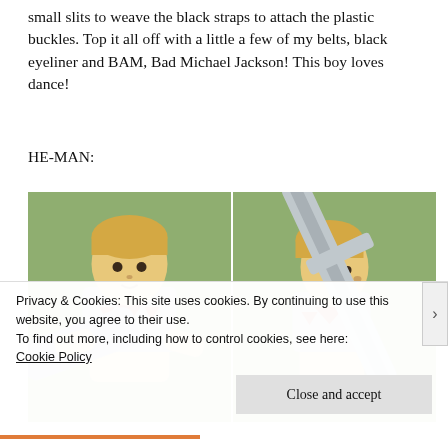small slits to weave the black straps to attach the plastic buckles. Top it all off with a little a few of my belts, black eyeliner and BAM, Bad Michael Jackson! This boy loves dance!
HE-MAN:
[Figure (photo): Two side-by-side photos of a toddler dressed as He-Man costume with gray armor chest piece with red triangles, against a green background. Left photo shows child facing forward holding a gray toy sword/shield. Right photo shows child from the side holding a large gray foam sword.]
Privacy & Cookies: This site uses cookies. By continuing to use this website, you agree to their use.
To find out more, including how to control cookies, see here:
Cookie Policy
Close and accept